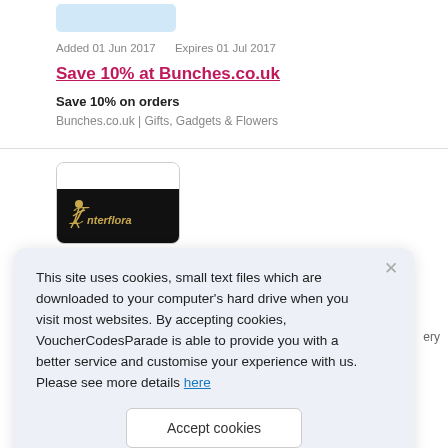[Figure (other): Blue rounded rectangle placeholder button at top]
Added 01 Jun 2017    Expires 01 Jul 2017
Save 10% at Bunches.co.uk
Save 10% on orders
Bunches.co.uk | Gifts, Gadgets & Flowers
[Figure (logo): Interflora logo on black background with gold figure and text]
This site uses cookies, small text files which are downloaded to your computer's hard drive when you visit most websites. By accepting cookies, VoucherCodesParade is able to provide you with a better service and customise your experience with us. Please see more details here
Accept cookies
[Figure (logo): Second Interflora logo on black background with gold figure and text]